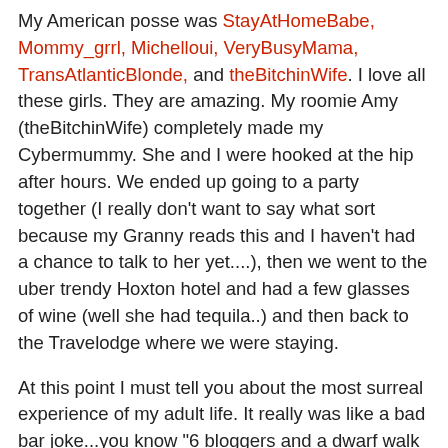My American posse was StayAtHomeBabe, Mommy_grrl, Michelloui, VeryBusyMama, TransAtlanticBlonde, and theBitchinWife. I love all these girls. They are amazing. My roomie Amy (theBitchinWife) completely made my Cybermummy. She and I were hooked at the hip after hours. We ended up going to a party together (I really don't want to say what sort because my Granny reads this and I haven't had a chance to talk to her yet....), then we went to the uber trendy Hoxton hotel and had a few glasses of wine (well she had tequila..) and then back to the Travelodge where we were staying.
At this point I must tell you about the most surreal experience of my adult life. It really was like a bad bar joke...you know "6 bloggers and a dwarf walk into a bar..." only there really was a dwarf there and it wasn't me hallucinating after a few glasses of wine. Apparently, Bakersgirl, Nickie, Amanda, Kate, InsomniacMummy had attracted the attentions of some choice cuts of Prime Grade A Bon Jovi loving men...one of which happened to be a dwarf. A really drunk dwarf. Amy and I ordered a pizza, because that's what you do when you leave an uber trendy